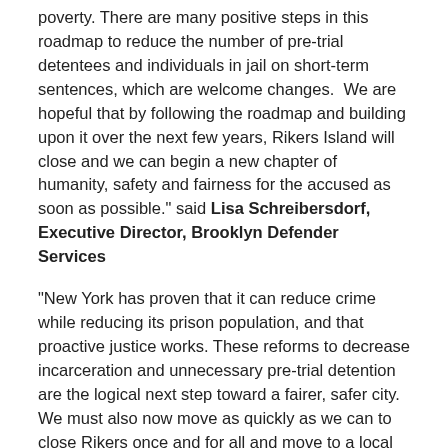poverty. There are many positive steps in this roadmap to reduce the number of pre-trial detentees and individuals in jail on short-term sentences, which are welcome changes.  We are hopeful that by following the roadmap and building upon it over the next few years, Rikers Island will close and we can begin a new chapter of humanity, safety and fairness for the accused as soon as possible." said Lisa Schreibersdorf, Executive Director, Brooklyn Defender Services
"New York has proven that it can reduce crime while reducing its prison population, and that proactive justice works. These reforms to decrease incarceration and unnecessary pre-trial detention are the logical next step toward a fairer, safer city. We must also now move as quickly as we can to close Rikers once and for all and move to a local jail system to ensure a higher standard of justice in our city," said Richard Aborn, President of the Citizens Crime Commission.